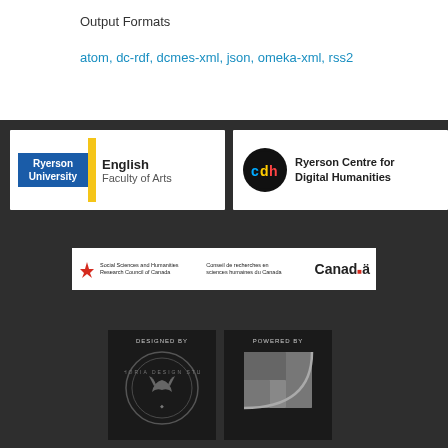Output Formats
atom, dc-rdf, dcmes-xml, json, omeka-xml, rss2
[Figure (logo): Ryerson University English Faculty of Arts logo]
[Figure (logo): Ryerson Centre for Digital Humanities (cdh) logo]
[Figure (logo): Social Sciences and Humanities Research Council of Canada / Conseil de recherches en sciences humaines du Canada - Canada wordmark logo]
[Figure (logo): DESIGNED BY - Euphoria Design Studio circular seal logo on dark background]
[Figure (logo): POWERED BY - Golden ratio / Fibonacci spiral logo on dark background]